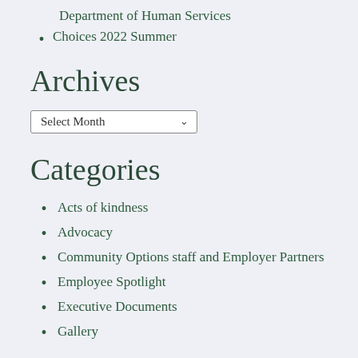Department of Human Services
Choices 2022 Summer
Archives
Select Month
Categories
Acts of kindness
Advocacy
Community Options staff and Employer Partners
Employee Spotlight
Executive Documents
Gallery